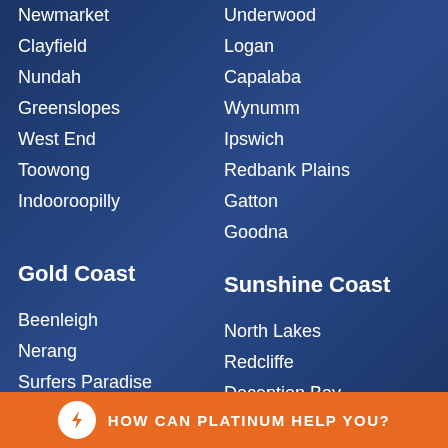Newmarket
Clayfield
Nundah
Greenslopes
West End
Toowong
Indooroopilly
Underwood
Logan
Capalaba
Wynumm
Ipswich
Redbank Plains
Gatton
Goodna
Gold Coast
Sunshine Coast
Beenleigh
Nerang
Surfers Paradise
Robina
North Lakes
Redcliffe
Deception Bay
Morayfield
HOW CAN PLATINUM HELP YOU?